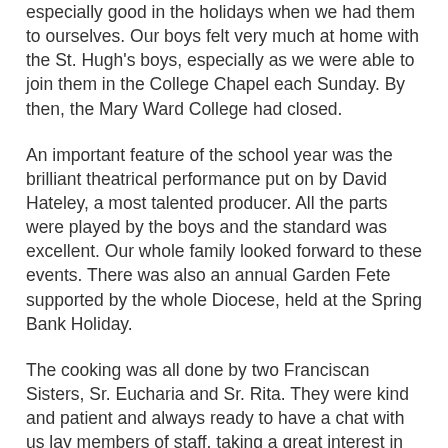especially good in the holidays when we had them to ourselves. Our boys felt very much at home with the St. Hugh's boys, especially as we were able to join them in the College Chapel each Sunday. By then, the Mary Ward College had closed.
An important feature of the school year was the brilliant theatrical performance put on by David Hateley, a most talented producer. All the parts were played by the boys and the standard was excellent. Our whole family looked forward to these events. There was also an annual Garden Fete supported by the whole Diocese, held at the Spring Bank Holiday.
The cooking was all done by two Franciscan Sisters, Sr. Eucharia and Sr. Rita. They were kind and patient and always ready to have a chat with us lay members of staff, taking a great interest in our families. They lived in the small house by the back entrance.